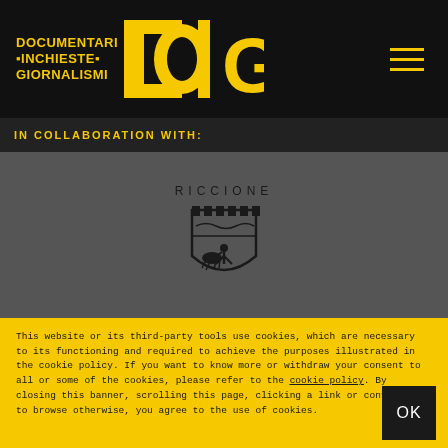[Figure (logo): DIG - Documentari Inchieste Giornalismi logo on black background with yellow text and D-shaped graphic]
IN COLLABORATION WITH:
[Figure (logo): Riccione city coat of arms logo on gray background with text RICCIONE]
This website or its third-party tools use cookies, which are necessary to its functioning and required to achieve the purposes illustrated in the cookie policy. If you want to know more or withdraw your consent to all or some of the cookies, please refer to the cookie policy. By closing this banner, scrolling this page, clicking a link or continuing to browse otherwise, you agree to the use of cookies.